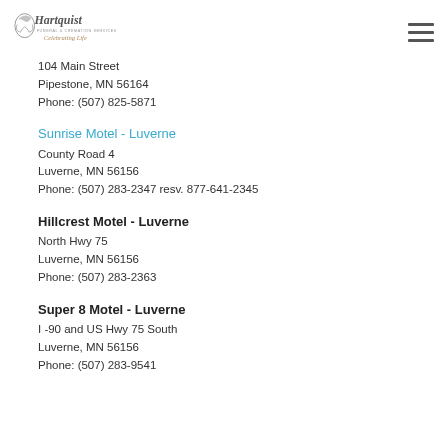Hartquist Funeral & Cremation Services - Celebrating Life
104 Main Street
Pipestone, MN 56164
Phone: (507) 825-5871
Sunrise Motel - Luverne
County Road 4
Luverne, MN 56156
Phone: (507) 283-2347 resv. 877-641-2345
Hillcrest Motel - Luverne
North Hwy 75
Luverne, MN 56156
Phone: (507) 283-2363
Super 8 Motel - Luverne
I -90 and US Hwy 75 South
Luverne, MN 56156
Phone: (507) 283-9541